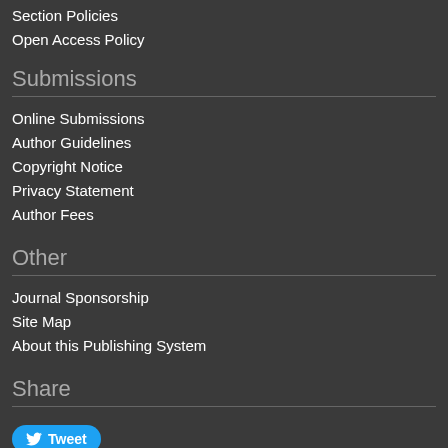Section Policies
Open Access Policy
Submissions
Online Submissions
Author Guidelines
Copyright Notice
Privacy Statement
Author Fees
Other
Journal Sponsorship
Site Map
About this Publishing System
Share
Tweet